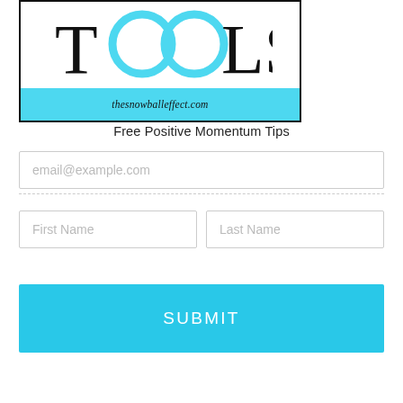[Figure (logo): TOOLS logo with two teal/cyan circle letters O, black letters T, L, S, and a cyan banner below reading thesnowballeffect.com]
Free Positive Momentum Tips
email@example.com
First Name
Last Name
SUBMIT